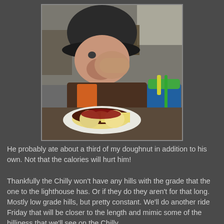[Figure (photo): A young toddler wearing a dark helmet/hat eating a chocolate-glazed donut at a restaurant table. The child has their hand near their mouth. In the foreground is a half-eaten donut on a white plate, and to the right is a green and blue sippy cup.]
He probably ate about a third of my doughnut in addition to his own. Not that the calories will hurt him!
Thankfully the Chilly won't have any hills with the grade that the one to the lighthouse has. Or if they do they aren't for that long. Mostly low grade hills, but pretty constant. We'll do another ride Friday that will be closer to the length and mimic some of the hilliness that we'll see on the Chilly.